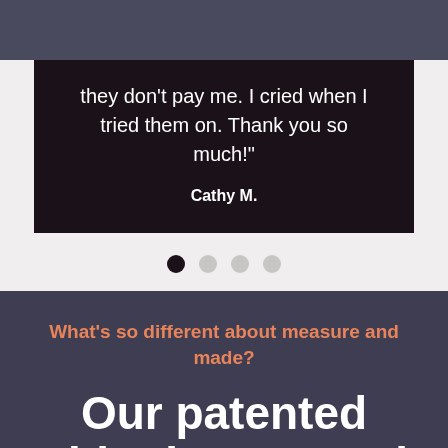they don't pay me. I cried when I tried them on. Thank you so much!"
Cathy M.
[Figure (other): Carousel pagination dots: one dark filled dot (active) and three lighter gray dots (inactive)]
What's so different about measure and made?
Our patented Fitlogic personal